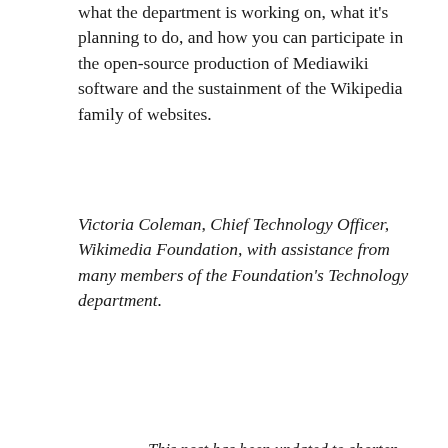what the department is working on, what it's planning to do, and how you can participate in the open-source production of Mediawiki software and the sustainment of the Wikipedia family of websites.
Victoria Coleman, Chief Technology Officer, Wikimedia Foundation, with assistance from many members of the Foundation's Technology department.
This post has been updated to shorten the conclusion.
Related Posts
[Figure (photo): Dark green circuit board image with green geometric patterns on black background]
[Figure (logo): Wikimedia/Wikipedia logo on light blue background showing a red circle above a green arc shape]